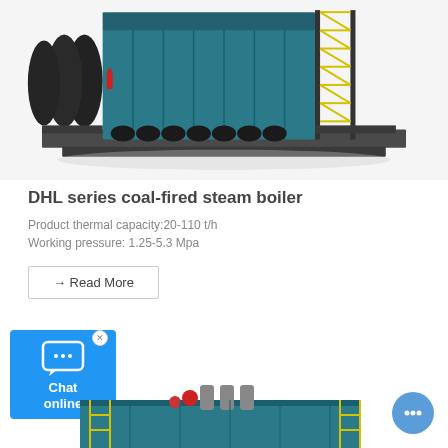[Figure (illustration): 3D rendering of a DHL series coal-fired steam boiler, teal/dark blue colored industrial boiler with yellow access stairs on the right side, shown from a front-right perspective on a dark grey base platform]
DHL series coal-fired steam boiler
Product thermal capacity:20-110 t/h
Working pressure: 1.25-5.3 Mpa
→ Read More
[Figure (illustration): Blue chat widget with speech bubble icon and text 'Chat online', with an X close button in the top right corner]
[Figure (illustration): Partial view of another industrial boiler/equipment in teal blue with yellow scaffolding, shown at the bottom of the page]
[Figure (illustration): Blue circular chat button with three dots in the lower right corner of the page]